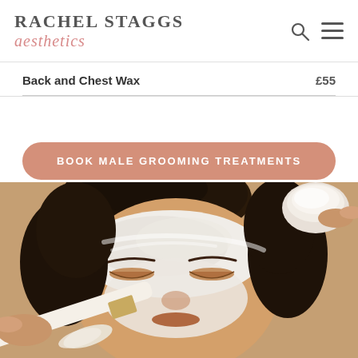Rachel Staggs aesthetics
Back and Chest Wax £55
BOOK MALE GROOMING TREATMENTS
[Figure (photo): A man lying down with a white facial mask being applied by a brush. A bowl of cream is visible in the top right corner. The man has dark hair and closed eyes.]